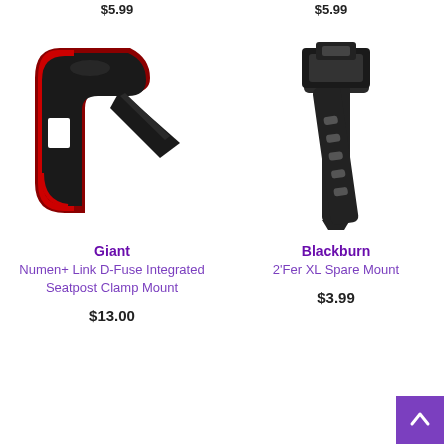$5.99
$5.99
[Figure (photo): Giant Numen+ Link D-Fuse Integrated Seatpost Clamp Mount product photo - black and red cycling accessory]
Giant
Numen+ Link D-Fuse Integrated Seatpost Clamp Mount
$13.00
[Figure (photo): Blackburn 2'Fer XL Spare Mount product photo - black strap mount with clip]
Blackburn
2'Fer XL Spare Mount
$3.99